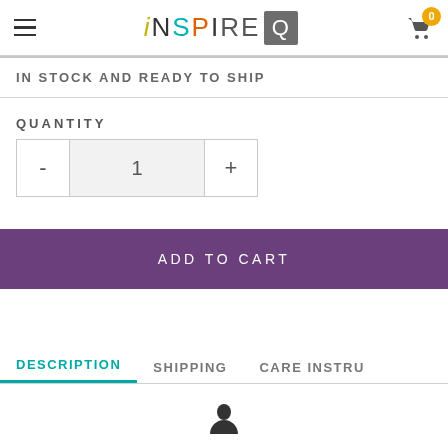iNSPIRE Q — navigation header with hamburger menu and cart (0 items)
IN STOCK AND READY TO SHIP
QUANTITY
- 1 +
ADD TO CART
DESCRIPTION | SHIPPING | CARE INSTRU…
user icon